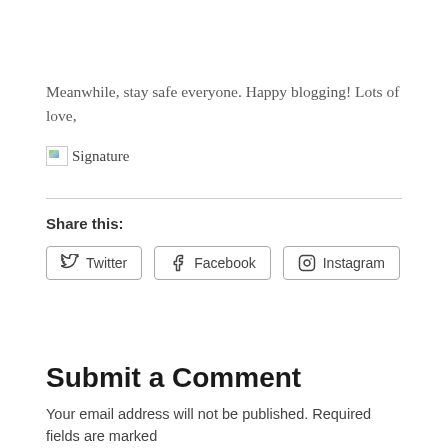Meanwhile, stay safe everyone. Happy blogging! Lots of love,
[Figure (illustration): Broken image placeholder with alt text 'Signature']
Share this:
Twitter  Facebook  Instagram (share buttons)
Submit a Comment
Your email address will not be published. Required fields are marked